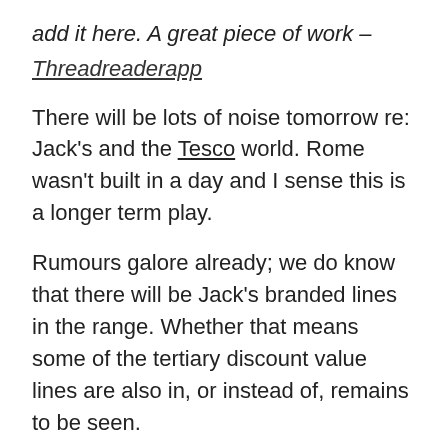add it here. A great piece of work – Threadreaderapp
There will be lots of noise tomorrow re: Jack's and the Tesco world. Rome wasn't built in a day and I sense this is a longer term play.
Rumours galore already; we do know that there will be Jack's branded lines in the range. Whether that means some of the tertiary discount value lines are also in, or instead of, remains to be seen.
BUT by offering the tertiary discount brands and also Jack's (in Jack's) Tesco smooth the path for comparatives / differential pricing to